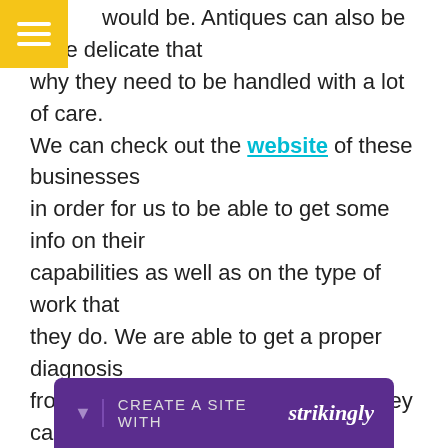would be. Antiques can also be quite delicate that why they need to be handled with a lot of care. We can check out the website of these businesses in order for us to be able to get some info on their capabilities as well as on the type of work that they do. We are able to get a proper diagnosis from them in bringing our item and they can also evaluate what needs to be done. We should get some info on how much it would cost us to have a full restoration so that our clock can be properly restored.
[Figure (other): Strikingly website builder promotional bar with purple background, showing 'CREATE A SITE WITH strikingly' text]